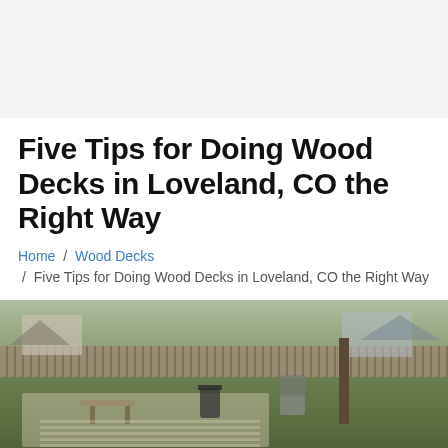Five Tips for Doing Wood Decks in Loveland, CO the Right Way
Home / Wood Decks / Five Tips for Doing Wood Decks in Loveland, CO the Right Way
[Figure (photo): Outdoor backyard photo showing a wood deck/patio area with furniture, a fence in the background, trees, and houses visible in the background on an overcast day.]